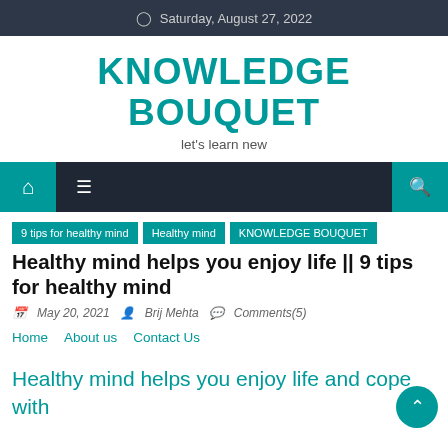Saturday, August 27, 2022
KNOWLEDGE BOUQUET
let's learn new
9 tips for healthy mind
Healthy mind
KNOWLEDGE BOUQUET
Healthy mind helps you enjoy life || 9 tips for healthy mind
May 20, 2021   Brij Mehta   Comments(5)
Home   About us   Contact Us
Healthy mind helps you enjoy life and cope with